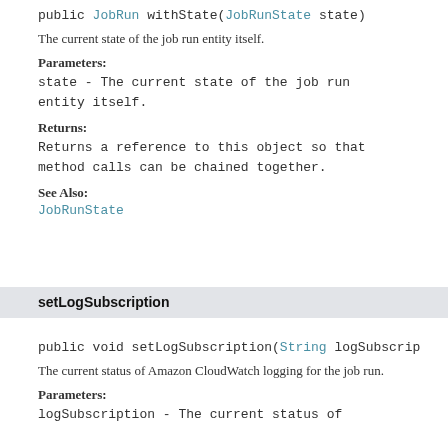public JobRun withState(JobRunState state)
The current state of the job run entity itself.
Parameters:
state - The current state of the job run entity itself.
Returns:
Returns a reference to this object so that method calls can be chained together.
See Also:
JobRunState
setLogSubscription
public void setLogSubscription(String logSubscrip
The current status of Amazon CloudWatch logging for the job run.
Parameters:
logSubscription - The current status of